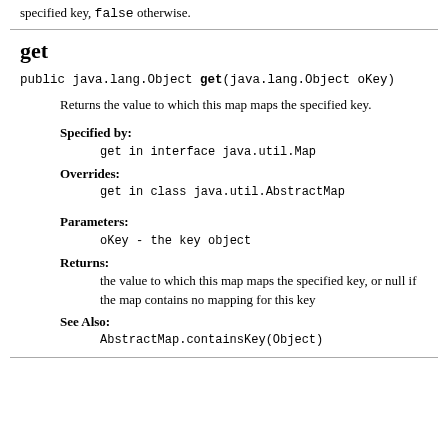specified key, false otherwise.
get
public java.lang.Object get(java.lang.Object oKey)
Returns the value to which this map maps the specified key.
Specified by: get in interface java.util.Map
Overrides: get in class java.util.AbstractMap
Parameters: oKey - the key object
Returns: the value to which this map maps the specified key, or null if the map contains no mapping for this key
See Also: AbstractMap.containsKey(Object)